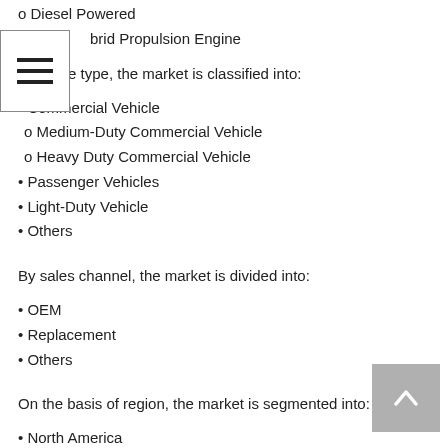o Diesel Powered
Hybrid Propulsion Engine
By vehicle type, the market is classified into:
• Commercial Vehicle
o Medium-Duty Commercial Vehicle
o Heavy Duty Commercial Vehicle
• Passenger Vehicles
• Light-Duty Vehicle
• Others
By sales channel, the market is divided into:
• OEM
• Replacement
• Others
On the basis of region, the market is segmented into:
• North America
• Europe
• Asia Pacific
• Latin America
• Middle East and Africa